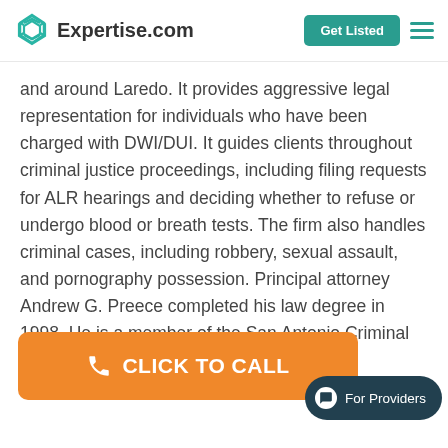Expertise.com | Get Listed
and around Laredo. It provides aggressive legal representation for individuals who have been charged with DWI/DUI. It guides clients throughout criminal justice proceedings, including filing requests for ALR hearings and deciding whether to refuse or undergo blood or breath tests. The firm also handles criminal cases, including robbery, sexual assault, and pornography possession. Principal attorney Andrew G. Preece completed his law degree in 1998. He is a member of the San Antonio Criminal Defense Lawyers Association.
[Figure (other): Orange CLICK TO CALL button with phone icon]
[Figure (other): For Providers chat bubble button in dark teal]